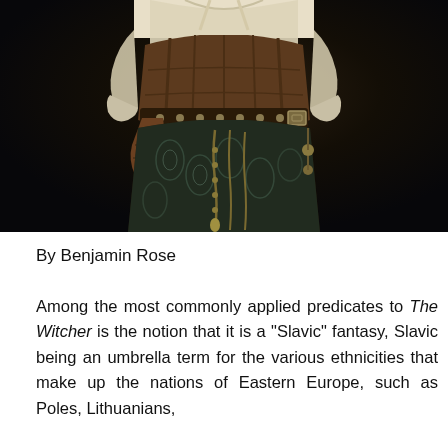[Figure (photo): A close-up photograph of a fantasy costume, showing a figure wearing a cream/white blouse, brown leather corset with belt and studs, and a dark brocade/floral patterned skirt with hanging chains and ornaments, on a dark background.]
By Benjamin Rose
Among the most commonly applied predicates to The Witcher is the notion that it is a “Slavic” fantasy, Slavic being an umbrella term for the various ethnicities that make up the nations of Eastern Europe, such as Poles, Lithuanians, Russians, Albanians, Serbians, etc. This is a notable